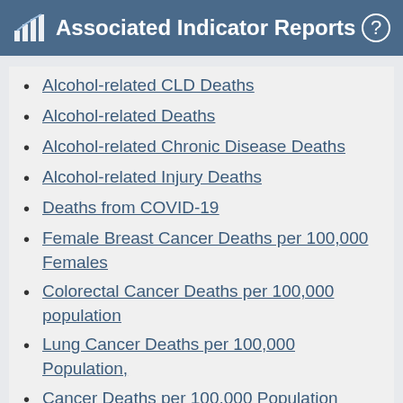Associated Indicator Reports
Alcohol-related CLD Deaths
Alcohol-related Deaths
Alcohol-related Chronic Disease Deaths
Alcohol-related Injury Deaths
Deaths from COVID-19
Female Breast Cancer Deaths per 100,000 Females
Colorectal Cancer Deaths per 100,000 population
Lung Cancer Deaths per 100,000 Population,
Cancer Deaths per 100,000 Population
Percentage of Adults Age 50-75 who are